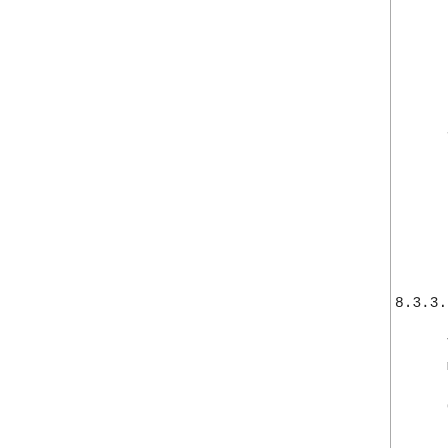to='bill@im.e...
                    id='vq71f4nb'...
          <body>%#&@^!!!</body>...
     </message>
S: <message from='bill@im...
                    id='vq71f4nb'...
                    to='romeo@exam...
          <error by='example.ne...
              <policy-violation ...
                      xmlns='urn:iett...
          </error>
     </message>
8.3.3.13.  recipient-unavail...
The intended recipient is...
maintenance, etc.; the ass...
C: <presence
          from='juliet@im.exa...